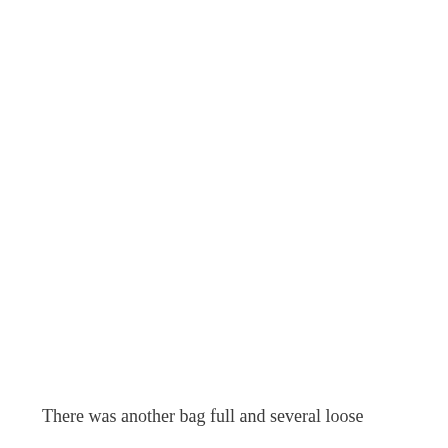There was another bag full and several loose